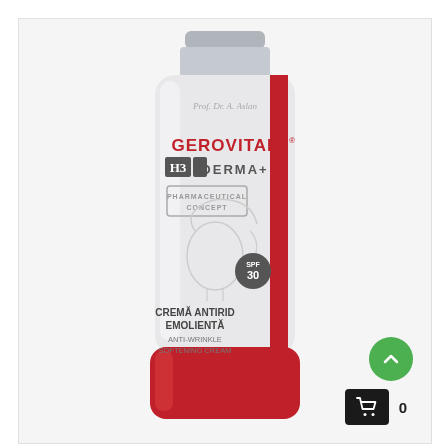[Figure (photo): Product photo of Gerovital H3 Derma+ Anti-Wrinkle Softening Cream tube with SPF 30. White tube with red cap, featuring the GEROVITAL brand name, H3 Derma+ logo, 'PHARMACEUTICAL CONCEPT' stamp, illustration of a woman's face, SPF 30 badge, Romanian text 'CREMĂ ANTIRID EMOLIENTĂ' and English text 'ANTI-WRINKLE SOFTENING CREAM'. Vertical red stripe on right side reads 'TEN USCAT, RIDAT/ WRINKLED AND DRY SKIN'.]